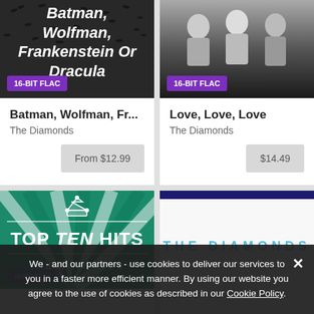[Figure (photo): Album art for Batman, Wolfman, Frankenstein Or Dracula by The Diamonds - dark background with birds silhouettes and white bold italic title text, with 16-BIT FLAC badge]
Batman, Wolfman, Fr...
The Diamonds
From $12.99
[Figure (photo): Album art for Love, Love, Love by The Diamonds - black and white photo of men in suits, with 16-BIT FLAC badge]
Love, Love, Love
The Diamonds
$14.49
[Figure (photo): Top Ten Hits album art - teal/green background with radiating rays, crown icon, TOP TEN HITS text, THE DIAMONDS text below, 16-BIT FLAC badge]
[Figure (photo): Another Diamonds album art - white background with navy top bar and THE DIAMONDS in blue spaced letters]
We - and our partners - use cookies to deliver our services to you in a faster more efficient manner. By using our website you agree to the use of cookies as described in our Cookie Policy.